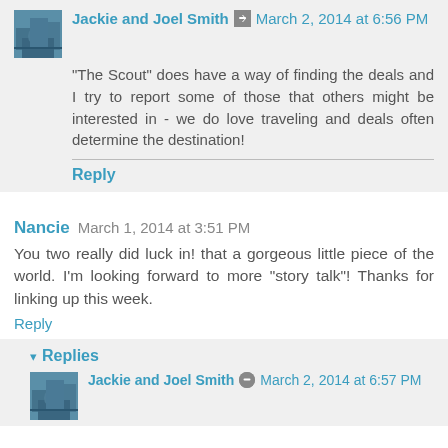Jackie and Joel Smith · March 2, 2014 at 6:56 PM
"The Scout" does have a way of finding the deals and I try to report some of those that others might be interested in - we do love traveling and deals often determine the destination!
Reply
Nancie March 1, 2014 at 3:51 PM
You two really did luck in! that a gorgeous little piece of the world. I'm looking forward to more "story talk"! Thanks for linking up this week.
Reply
Replies
Jackie and Joel Smith · March 2, 2014 at 6:57 PM